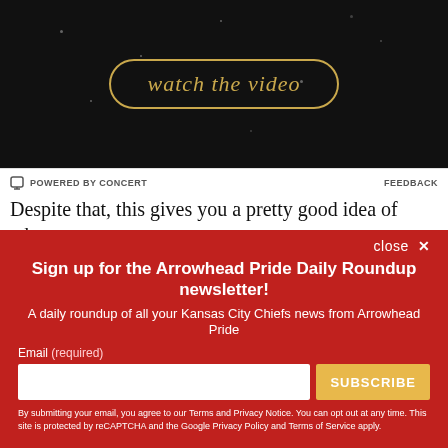[Figure (screenshot): Dark video thumbnail with gold 'watch the video' button in rounded rectangle border]
POWERED BY CONCERT   FEEDBACK
Despite that, this gives you a pretty good idea of where
close ×
Sign up for the Arrowhead Pride Daily Roundup newsletter!
A daily roundup of all your Kansas City Chiefs news from Arrowhead Pride
Email (required)
SUBSCRIBE
By submitting your email, you agree to our Terms and Privacy Notice. You can opt out at any time. This site is protected by reCAPTCHA and the Google Privacy Policy and Terms of Service apply.